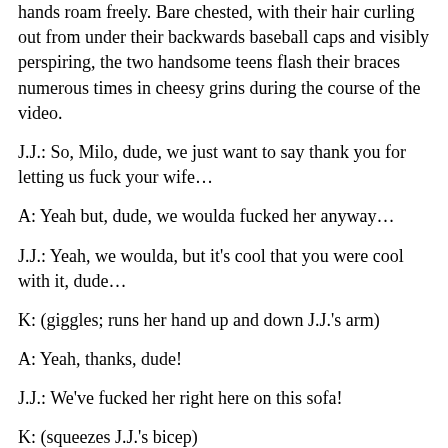hands roam freely. Bare chested, with their hair curling out from under their backwards baseball caps and visibly perspiring, the two handsome teens flash their braces numerous times in cheesy grins during the course of the video.
J.J.: So, Milo, dude, we just want to say thank you for letting us fuck your wife…
A: Yeah but, dude, we woulda fucked her anyway…
J.J.: Yeah, we woulda, but it's cool that you were cool with it, dude…
K: (giggles; runs her hand up and down J.J.'s arm)
A: Yeah, thanks, dude!
J.J.: We've fucked her right here on this sofa!
K: (squeezes J.J.'s bicep)
A: Matter of fact, we just got done fucking her…
J.J.: In bed…
A: Yeah, tonight we fucked her in bed.